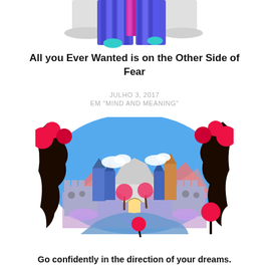[Figure (illustration): Top partial illustration showing a colorful fantasy/scenic image with blue and magenta curtain-like shapes, gray cloudy sky, teal accent clouds at the bottom edge]
All you Ever Wanted is on the Other Side of Fear
JULHO 3, 2017
EM "MIND AND MEANING"
[Figure (illustration): Colorful illustration of a fantasy city/castle scene viewed through silhouetted dark tree branches forming a circular frame. Inside: blue sky with white clouds, pink/orange mountains, colorful buildings with domes and towers, pink flowering trees, a winding blue river path leading through a gate. The framing trees have red/pink leaf clusters.]
Go confidently in the direction of your dreams.